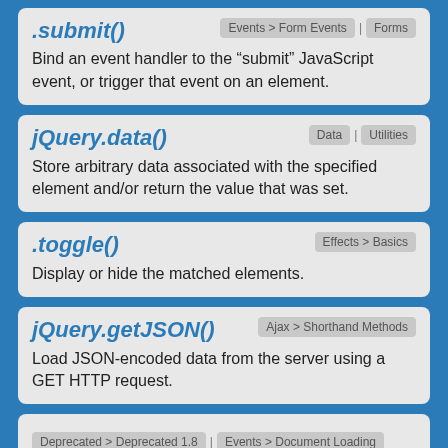.submit()
Bind an event handler to the “submit” JavaScript event, or trigger that event on an element.
jQuery.data()
Store arbitrary data associated with the specified element and/or return the value that was set.
.toggle()
Display or hide the matched elements.
jQuery.getJSON()
Load JSON-encoded data from the server using a GET HTTP request.
Deprecated > Deprecated 1.8 | Events > Document Loading | Removed: